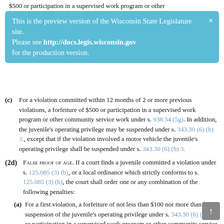$500 or participation in a supervised work program or other
This is the preview version of the Wisconsin State Legislature site. Please see http://docs.legis.wisconsin.gov for the production version.
(c) For a violation committed within 12 months of 2 or more previous violations, a forfeiture of $500 or participation in a supervised work program or other community service work under s. 938.34 (5g). In addition, the juvenile's operating privilege may be suspended under s. 343.30 (6) (b) 3., except that if the violation involved a motor vehicle the juvenile's operating privilege shall be suspended under s. 343.30 (6) (b) 3.
(2d) FALSE PROOF OF AGE. If a court finds a juvenile committed a violation under s. 125.085 (3) (b), or a local ordinance which strictly conforms to s. 125.085 (3) (b), the court shall order one or any combination of the following penalties:
(a) For a first violation, a forfeiture of not less than $100 nor more than $500, suspension of the juvenile's operating privilege under s. 343.30 (6) (b) 1., or participation in a supervised work program or other community service work under s. 938.34 (5g).
(b) For a violation committed within 12 months of a previous violation, a forfeiture of not less than $300 nor more tha